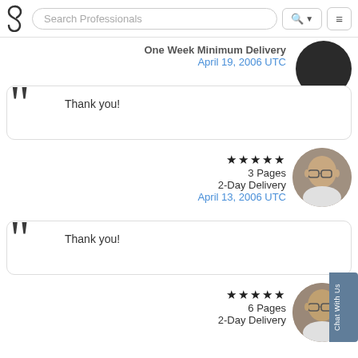Search Professionals
One Week Minimum Delivery
April 19, 2006 UTC
Thank you!
★★★★★
3 Pages
2-Day Delivery
April 13, 2006 UTC
Thank you!
★★★★★
6 Pages
2-Day Delivery